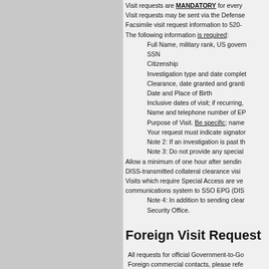Visit requests are MANDATORY for every...
Visit requests may be sent via the Defense...
Facsimile visit request information to 520-...
The following information is required:
Full Name, military rank, US government...
SSN
Citizenship
Investigation type and date completed...
Clearance, date granted and granting...
Date and Place of Birth
Inclusive dates of visit; if recurring,...
Name and telephone number of EP...
Purpose of Visit. Be specific; name...
Your request must indicate signator...
Note 2: If an investigation is past th...
Note 3: Do not provide any special...
Allow a minimum of one hour after sendin...
DISS-transmitted collateral clearance visi...
Visits which require Special Access are ve... communications system to SSO EPG (DIS...
Note 4: In addition to sending clear... Security Office.
Foreign Visit Request
All requests for official Government-to-Go...
Foreign commercial contacts, please refe...